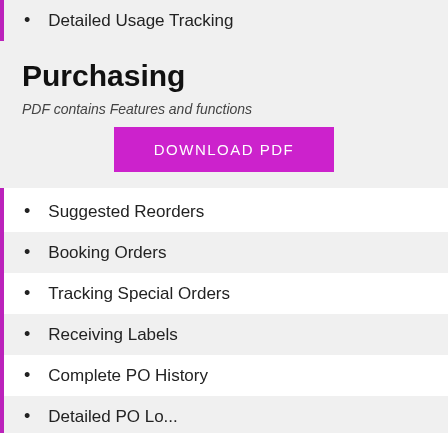Detailed Usage Tracking
Purchasing
PDF contains Features and functions
[Figure (other): Download PDF button (magenta/purple button with white text 'DOWNLOAD PDF')]
Suggested Reorders
Booking Orders
Tracking Special Orders
Receiving Labels
Complete PO History
Detailed PO Logs (partial)